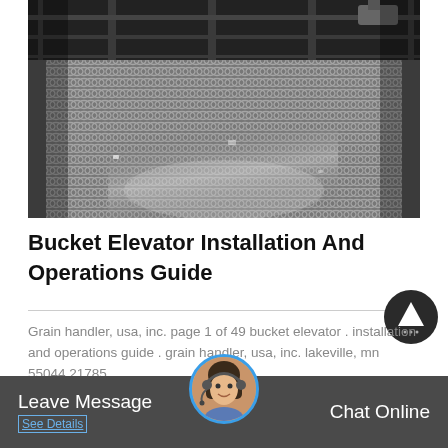[Figure (photo): Industrial metal mesh/wire screen conveyor belt viewed from close angle, showing interlocked metal links extending into the distance. Industrial machinery components visible in background.]
Bucket Elevator Installation And Operations Guide
Grain handler, usa, inc. page 1 of 49 bucket elevator . installation and operations guide . grain handler, usa, inc. lakeville, mn 55044 21785
[Figure (photo): Customer service agent avatar — woman wearing headset, circular profile photo with blue ring border.]